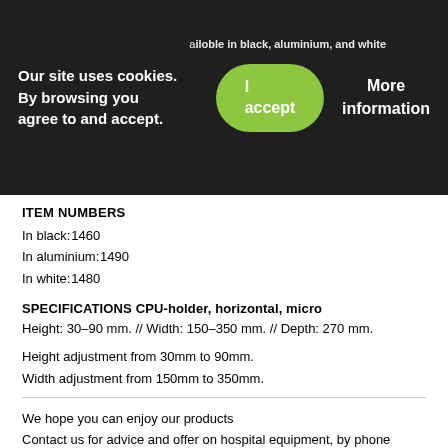Mounted directly in the worktop. Easy height/width adjustment.
[Figure (screenshot): Cookie consent banner overlay with 'Our site uses cookies. By browsing you agree to and accept.' text, a green 'I accept' button, and a 'More information' link. Behind the banner, partially visible text reads 'available in black, aluminium, and white' and color codes.]
ITEM NUMBERS
In black: 1460
In aluminium: 1490
In white: 1480
SPECIFICATIONS CPU-holder, horizontal, micro
Height: 30–90 mm. // Width: 150–350 mm. // Depth: 270 mm.
Height adjustment from 30mm to 90mm.
Width adjustment from 150mm to 350mm.
We hope you can enjoy our products
Contact us for advice and offer on hospital equipment, by phone +45 7020 5826 or send us an email at info@jbmedico.com
Made of necessity – designed to hold.